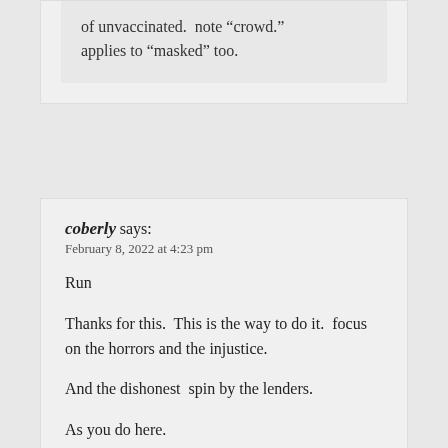of unvaccinated.  note “crowd.” applies to “masked” too.
coberly says:
February 8, 2022 at 4:23 pm
Run
Thanks for this.  This is the way to do it.  focus on the horrors and the injustice.
And the dishonest  spin by the lenders.
As you do here.